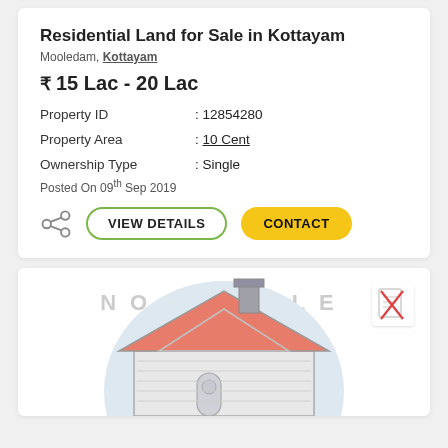Residential Land for Sale in Kottayam
Mooledam, Kottayam
₹ 15 Lac - 20 Lac
| Property ID | : 12854280 |
| Property Area | : 10 Cent |
| Ownership Type | : Single |
Posted On 09th Sep 2019
[Figure (illustration): House illustration with no image placeholder, share icon, VIEW DETAILS and CONTACT buttons]
[Figure (illustration): Residential property placeholder illustration showing a cartoon house with orange roof on a light blue circular background, with a document-not-available icon in top right]